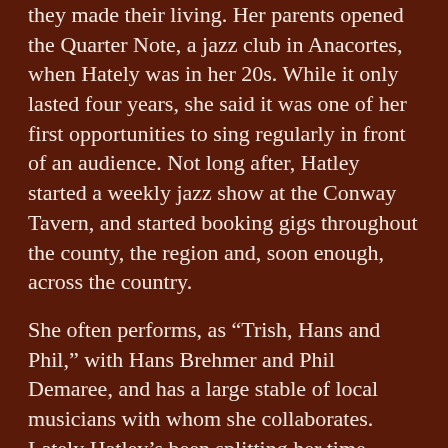they made their living. Her parents opened the Quarter Note, a jazz club in Anacortes, when Hately was in her 20s. While it only lasted four years, she said it was one of her first opportunities to sing regularly in front of an audience. Not long after, Hatley started a weekly jazz show at the Conway Tavern, and started booking gigs throughout the county, the region and, soon enough, across the country.
She often performs, as “Trish, Hans and Phil,” with Hans Brehmer and Phil Demaree, and has a large stable of local musicians with whom she collaborates. Lately Hatley’s been splitting her time between Skagit County and Palm Springs, California, but she always comes back home in the summer.
John Anderson first met Hatley on her 30th birthday, when he was playing a show at the Elks Club in Anacortes, and was invited on stage to sing. “At the next break, the band leader pulled us all aside (and said)